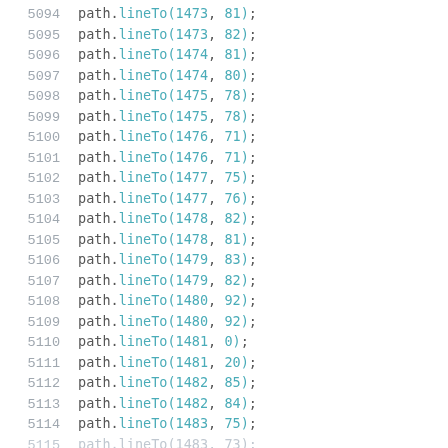5094    path.lineTo(1473, 81);
5095    path.lineTo(1473, 82);
5096    path.lineTo(1474, 81);
5097    path.lineTo(1474, 80);
5098    path.lineTo(1475, 78);
5099    path.lineTo(1475, 78);
5100    path.lineTo(1476, 71);
5101    path.lineTo(1476, 71);
5102    path.lineTo(1477, 75);
5103    path.lineTo(1477, 76);
5104    path.lineTo(1478, 82);
5105    path.lineTo(1478, 81);
5106    path.lineTo(1479, 83);
5107    path.lineTo(1479, 82);
5108    path.lineTo(1480, 92);
5109    path.lineTo(1480, 92);
5110    path.lineTo(1481, 0);
5111    path.lineTo(1481, 20);
5112    path.lineTo(1482, 85);
5113    path.lineTo(1482, 84);
5114    path.lineTo(1483, 75);
5115    path.lineTo(1483, 73);